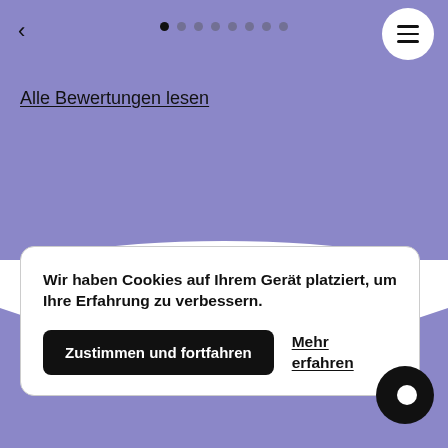[Figure (screenshot): Navigation header with back arrow, dot pagination indicators (8 dots, first active), and hamburger menu button in white circle on purple background]
Alle Bewertungen lesen
Wir haben Cookies auf Ihrem Gerät platziert, um Ihre Erfahrung zu verbessern.
Zustimmen und fortfahren
Mehr erfahren